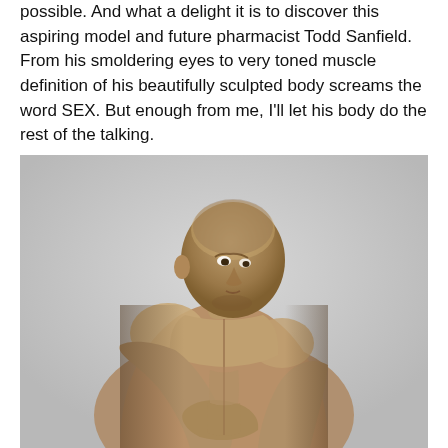possible. And what a delight it is to discover this aspiring model and future pharmacist Todd Sanfield. From his smoldering eyes to very toned muscle definition of his beautifully sculpted body screams the word SEX. But enough from me, I'll let his body do the rest of the talking.
[Figure (photo): Black and white photograph of a muscular shirtless man with a shaved head, looking to the side with a serious expression, leaning forward showing defined abdominal and chest muscles against a light grey background.]